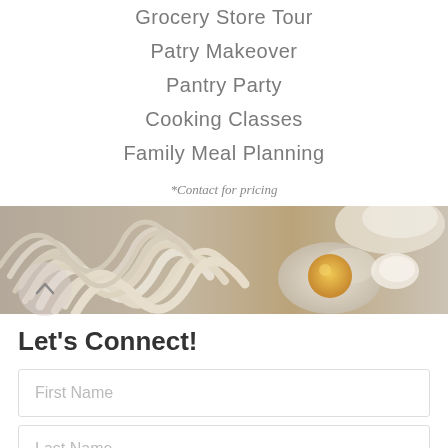Grocery Store Tour
Patry Makeover
Pantry Party
Cooking Classes
Family Meal Planning
*Contact for pricing
[Figure (photo): Wide overhead shot of raw pasta noodles, cracked egg with yolk, and flour on a wooden surface]
Let's Connect!
First Name
Last Name
Email